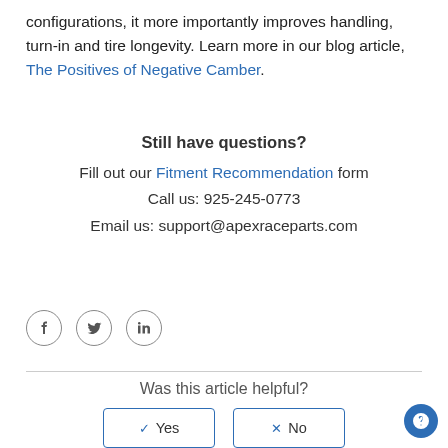configurations, it more importantly improves handling, turn-in and tire longevity. Learn more in our blog article, The Positives of Negative Camber.
Still have questions?
Fill out our Fitment Recommendation form
Call us: 925-245-0773
Email us: support@apexraceparts.com
[Figure (other): Social media icons: Facebook, Twitter, LinkedIn — circular outlined icons]
Was this article helpful?
[Figure (other): Yes and No buttons with checkmark and X icons, blue outlined rectangles]